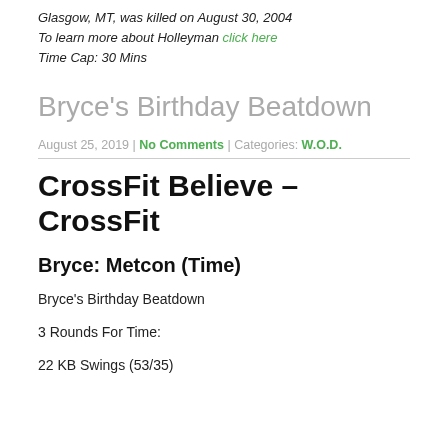Glasgow, MT, was killed on August 30, 2004
To learn more about Holleyman click here
Time Cap: 30 Mins
Bryce's Birthday Beatdown
August 25, 2019 | No Comments | Categories: W.O.D.
CrossFit Believe – CrossFit
Bryce: Metcon (Time)
Bryce's Birthday Beatdown
3 Rounds For Time:
22 KB Swings (53/35)